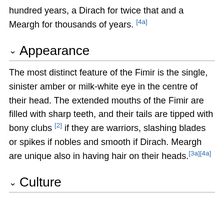hundred years, a Dirach for twice that and a Meargh for thousands of years. [4a]
Appearance
The most distinct feature of the Fimir is the single, sinister amber or milk-white eye in the centre of their head. The extended mouths of the Fimir are filled with sharp teeth, and their tails are tipped with bony clubs [2] if they are warriors, slashing blades or spikes if nobles and smooth if Dirach. Meargh are unique also in having hair on their heads.[3a][4a]
Culture